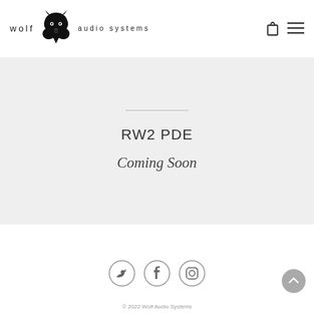[Figure (logo): Wolf Audio Systems logo with wolf head illustration, text 'wolf' on left and 'audio systems' on right]
RW2 PDE
Coming Soon
[Figure (illustration): Social media icons: Twitter bird, Facebook f, Instagram camera in circular outlines]
© 2022 Wolf Audio Systems